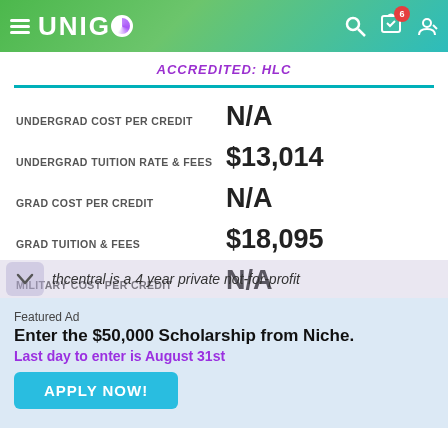UNIGO
ACCREDITED: HLC
|  |  |
| --- | --- |
| UNDERGRAD COST PER CREDIT | N/A |
| UNDERGRAD TUITION RATE & FEES | $13,014 |
| GRAD COST PER CREDIT | N/A |
| GRAD TUITION & FEES | $18,095 |
| MILITARY COST PER CREDIT | N/A |
thcentral is a 4 year private not-for-profit
Featured Ad
Enter the $50,000 Scholarship from Niche.
Last day to enter is August 31st